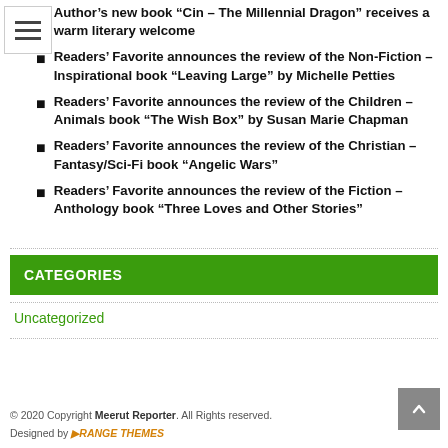Author's new book “Cin – The Millennial Dragon” receives a warm literary welcome
Readers’ Favorite announces the review of the Non-Fiction – Inspirational book “Leaving Large” by Michelle Petties
Readers’ Favorite announces the review of the Children – Animals book “The Wish Box” by Susan Marie Chapman
Readers’ Favorite announces the review of the Christian – Fantasy/Sci-Fi book “Angelic Wars”
Readers’ Favorite announces the review of the Fiction – Anthology book “Three Loves and Other Stories”
CATEGORIES
Uncategorized
© 2020 Copyright Meerut Reporter. All Rights reserved. Designed by ORANGE THEMES